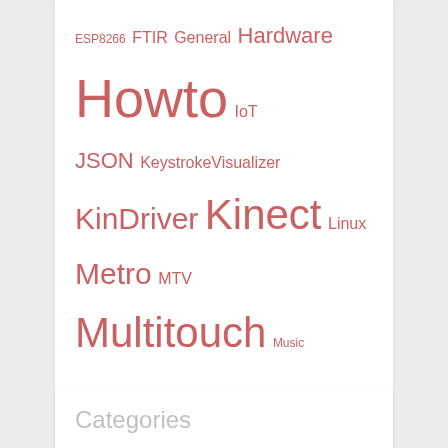[Figure (other): Tag cloud with terms in varying sizes all in salmon/coral red color: ESP8266, FTIR, General, Hardware, Howto, IoT, JSON, KeystrokeVisualizer, KinDriver, Kinect, Linux, Metro, MTV, Multitouch, Music, NuGet, NUI, python, Replay Practice, Software, Surface, TCD, Tensorflow, Tools, Tracking, tricks, Tutorial, UWP, Windows 8, Windows 10, Windows Phone, WinRT, WPF, XAML, XML]
Categories